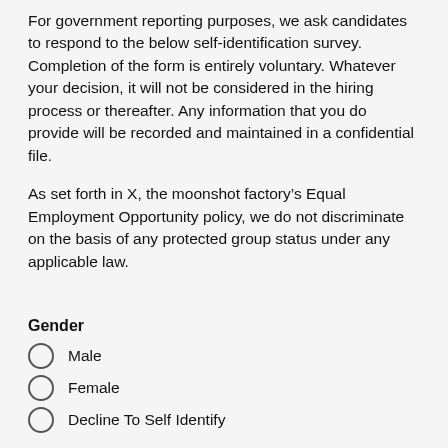For government reporting purposes, we ask candidates to respond to the below self-identification survey. Completion of the form is entirely voluntary. Whatever your decision, it will not be considered in the hiring process or thereafter. Any information that you do provide will be recorded and maintained in a confidential file.
As set forth in X, the moonshot factory’s Equal Employment Opportunity policy, we do not discriminate on the basis of any protected group status under any applicable law.
Gender
Male
Female
Decline To Self Identify
Race
American Indian or Alaskan Native